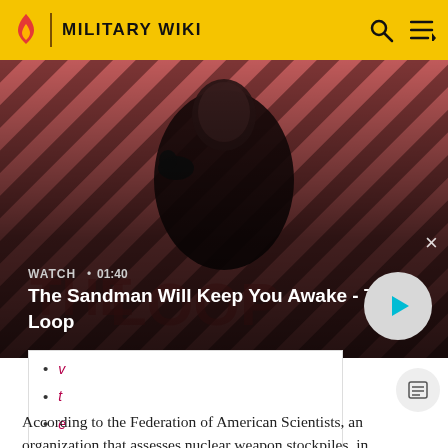MILITARY WIKI
[Figure (screenshot): Video thumbnail for 'The Sandman Will Keep You Awake - The Loop' with a dark-clad figure against a red and black diagonal striped background. Shows WATCH • 01:40 label and a play button.]
v
t
e
According to the Federation of American Scientists, an organization that assesses nuclear weapon stockpiles, in